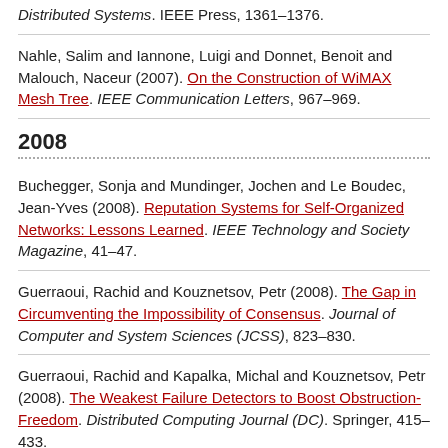Distributed Systems. IEEE Press, 1361–1376.
Nahle, Salim and Iannone, Luigi and Donnet, Benoit and Malouch, Naceur (2007). On the Construction of WiMAX Mesh Tree. IEEE Communication Letters, 967–969.
2008
Buchegger, Sonja and Mundinger, Jochen and Le Boudec, Jean-Yves (2008). Reputation Systems for Self-Organized Networks: Lessons Learned. IEEE Technology and Society Magazine, 41–47.
Guerraoui, Rachid and Kouznetsov, Petr (2008). The Gap in Circumventing the Impossibility of Consensus. Journal of Computer and System Sciences (JCSS), 823–830.
Guerraoui, Rachid and Kapalka, Michal and Kouznetsov, Petr (2008). The Weakest Failure Detectors to Boost Obstruction-Freedom. Distributed Computing Journal (DC). Springer, 415–433.
Karrer, Roger and Botta, Alessio and Pescapé, Antonio (2008). High-speed wireless backhaul networks: myth or reality?.